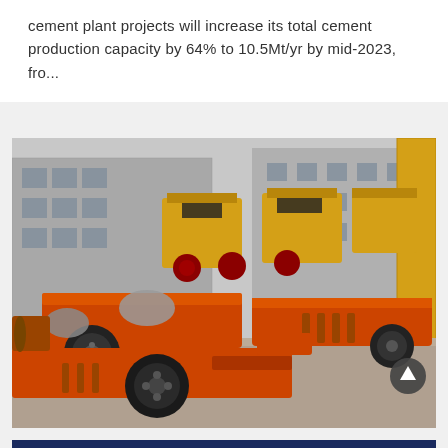cement plant projects will increase its total cement production capacity by 64% to 10.5Mt/yr by mid-2023, fro...
[Figure (photo): Industrial photograph showing orange and yellow heavy machinery (crushers and mill equipment) on a factory floor, with grey industrial buildings in the background.]